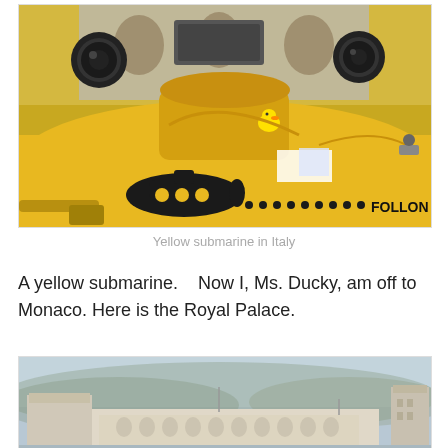[Figure (photo): Close-up photo of a yellow submarine exhibited outdoors in Italy, with a small rubber duck on top, a black submarine silhouette sticker with porthole windows, and the word FOLLOW and dots visible along the side. White building with arched windows visible in background.]
Yellow submarine in Italy
A yellow submarine.    Now I, Ms. Ducky, am off to Monaco.  Here is the Royal Palace.
[Figure (photo): Distant photo of the Royal Palace of Monaco, a large white classical building with towers, set against misty green hills and overcast grey-blue sky.]